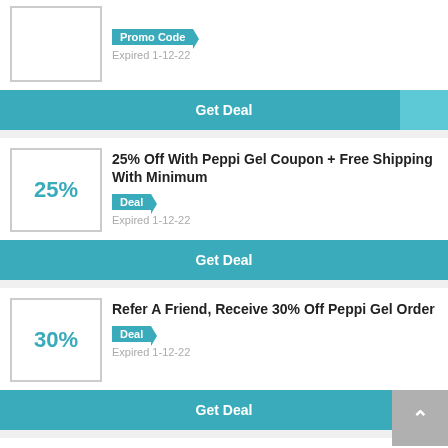[Figure (screenshot): Partial coupon card top: box with border, Promo Code badge, Expired 1-12-22, Get Deal button]
Promo Code
Expired 1-12-22
Get Deal
25% Off With Peppi Gel Coupon + Free Shipping With Minimum
Deal
Expired 1-12-22
Get Deal
Refer A Friend, Receive 30% Off Peppi Gel Order
Deal
Expired 1-12-22
Get Deal
Get An Extra 15% Off Site-wide